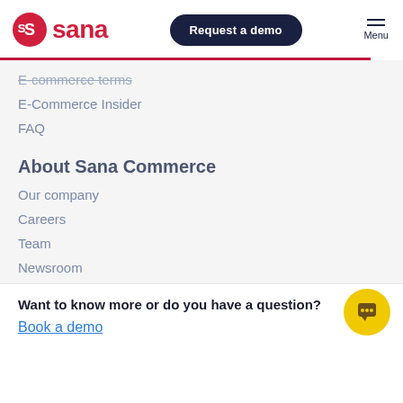sana | Request a demo | Menu
E-commerce terms
E-Commerce Insider
FAQ
About Sana Commerce
Our company
Careers
Team
Newsroom
Partners
Contact
Want to know more or do you have a question?
Book a demo